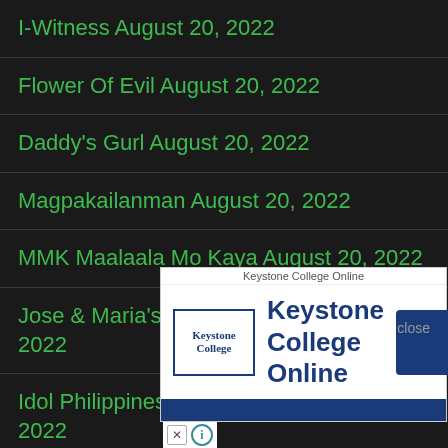I-Witness August 20, 2022
Flower Of Evil August 20, 2022
Daddy's Gurl August 20, 2022
Magpakailanman August 20, 2022
MMK Maalaala Mo Kaya August 20, 2022
Jose & Maria's Bonggang Villa August 20, 2022
Idol Philippines Season 2 August 20, 2022
Pepito Manaloto: Ang Tunay Na Kuwento August 20, 2022
TV P...
24 O...